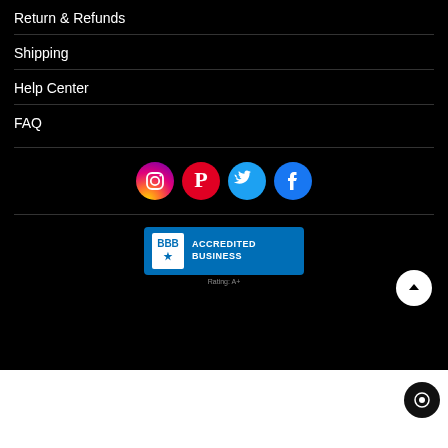Return & Refunds
Shipping
Help Center
FAQ
[Figure (logo): Social media icons row: Instagram, Pinterest, Twitter, Facebook]
[Figure (logo): BBB Accredited Business badge, Rating: A+]
[Figure (photo): Product thumbnail image showing decorative lights on stairs]
$229.99
$259.99
Add To Cart